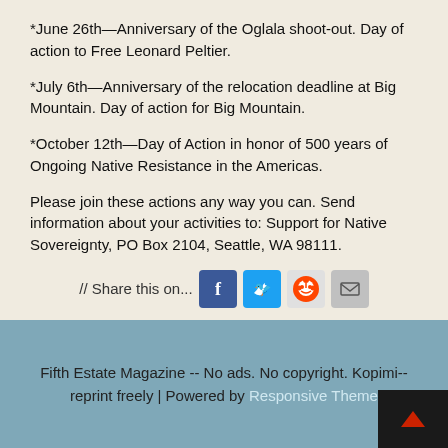*June 26th—Anniversary of the Oglala shoot-out. Day of action to Free Leonard Peltier.
*July 6th—Anniversary of the relocation deadline at Big Mountain. Day of action for Big Mountain.
*October 12th—Day of Action in honor of 500 years of Ongoing Native Resistance in the Americas.
Please join these actions any way you can. Send information about your activities to: Support for Native Sovereignty, PO Box 2104, Seattle, WA 98111.
// Share this on... [Facebook] [Twitter] [Reddit] [Email]
Fifth Estate Magazine -- No ads. No copyright. Kopimi-- reprint freely | Powered by Responsive Theme